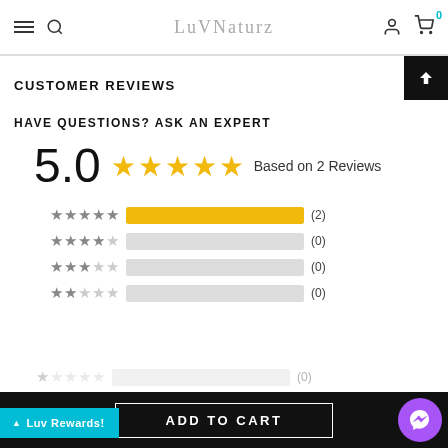LuVNaturz
CUSTOMER REVIEWS
HAVE QUESTIONS? ASK AN EXPERT
[Figure (infographic): Rating overview: 5.0 stars based on 2 reviews, with star rating histogram showing 5-star: 2, 4-star: 0, 3-star: 0, 2-star: 0, 1-star: 0]
5.0  Based on 2 Reviews
| Stars | Bar | Count |
| --- | --- | --- |
| ★★★★★ | full | (2) |
| ★★★★☆ | empty | (0) |
| ★★★☆☆ | empty | (0) |
| ★★☆☆☆ | empty | (0) |
| ★☆☆☆☆ | empty | (0) |